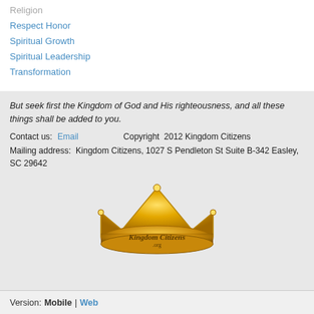Religion
Respect Honor
Spiritual Growth
Spiritual Leadership
Transformation
But seek first the Kingdom of God and His righteousness, and all these things shall be added to you.
Contact us:  Email    Copyright  2012 Kingdom Citizens
Mailing address:  Kingdom Citizens, 1027 S Pendleton St Suite B-342 Easley, SC 29642
[Figure (logo): Golden crown logo with 'Kingdom Citizens .org' text inscribed on it]
Version:  Mobile | Web